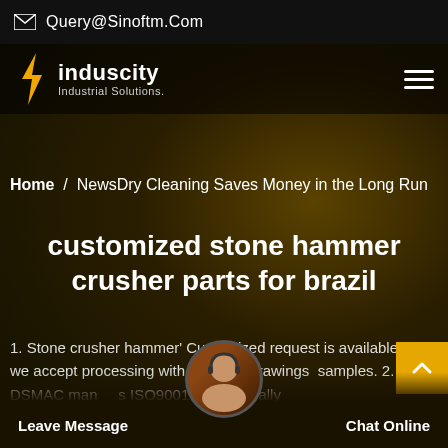Query@Sinoftm.Com
[Figure (logo): Induscity Industrial Solutions logo with yellow lightning bolt icon]
Home / NewsDry Cleaning Saves Money in the Long Run
customized stone hammer crusher parts for brazil
1. Stone crusher hammer' Customized request is available, and we accept processing with supplied drawings samples. 2. DSMAC man s ISO9001 certified ally arrange e parts us
Leave Message  Chat Online